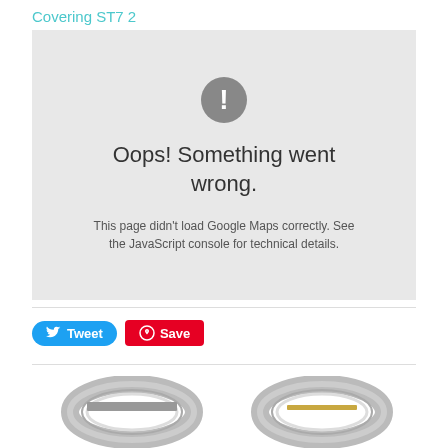Covering ST7 2
[Figure (screenshot): Google Maps error box with grey background showing exclamation icon and text: Oops! Something went wrong. This page didn't load Google Maps correctly. See the JavaScript console for technical details.]
[Figure (other): Tweet button (blue rounded) and Save/Pinterest button (red) for social sharing]
[Figure (photo): Two metallic rings at the bottom of the page — silver ring on the left and silver/gold ring on the right]